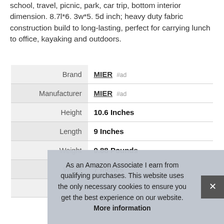school, travel, picnic, park, car trip, bottom interior dimension. 8.7l*6. 3w*5. 5d inch; heavy duty fabric construction build to long-lasting, perfect for carrying lunch to office, kayaking and outdoors.
|  |  |
| --- | --- |
| Brand | MIER #ad |
| Manufacturer | MIER #ad |
| Height | 10.6 Inches |
| Length | 9 Inches |
| Weight | 0.88 Pounds |
| Width | 7 Inches |
| P |  |
As an Amazon Associate I earn from qualifying purchases. This website uses the only necessary cookies to ensure you get the best experience on our website. More information